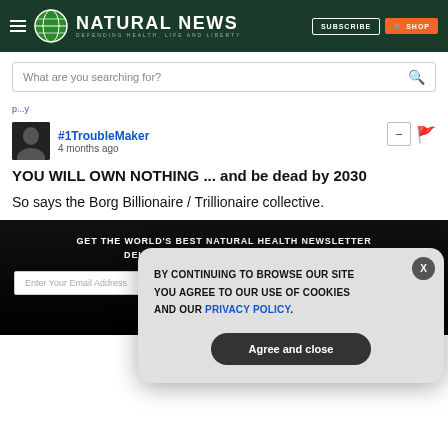NATURAL NEWS — DEFENDING HEALTH, LIFE AND LIBERTY
What are you searching for?
#1TroubleMaker · 4 months ago
YOU WILL OWN NOTHING ... and be dead by 2030
So says the Borg Billionaire / Trillionaire collective.
GET THE WORLD'S BEST NATURAL HEALTH NEWSLETTER DELIVERED STRAIGHT TO YOUR INBOX
BY CONTINUING TO BROWSE OUR SITE YOU AGREE TO OUR USE OF COOKIES AND OUR PRIVACY POLICY.
Agree and close